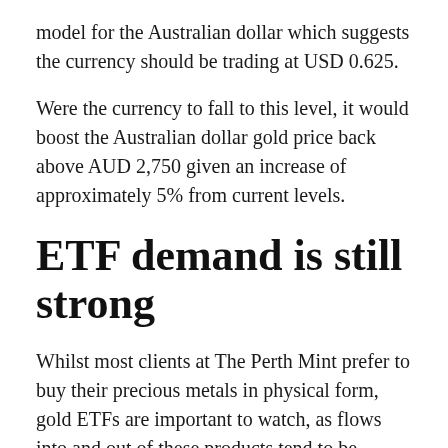model for the Australian dollar which suggests the currency should be trading at USD 0.625.
Were the currency to fall to this level, it would boost the Australian dollar gold price back above AUD 2,750 given an increase of approximately 5% from current levels.
ETF demand is still strong
Whilst most clients at The Perth Mint prefer to buy their precious metals in physical form, gold ETFs are important to watch, as flows into and out of these products tend to be highly correlated to gold prices.